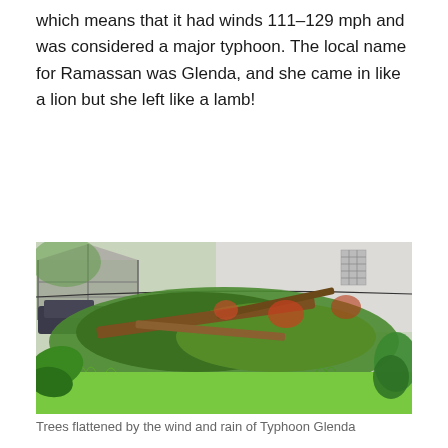which means that it had winds 111–129 mph and was considered a major typhoon. The local name for Ramassan was Glenda, and she came in like a lion but she left like a lamb!
[Figure (photo): Photograph showing trees and vegetation flattened and damaged by the wind and rain of Typhoon Glenda. A white building wall is visible in the background, along with what appears to be a gazebo/pergola structure on the left and a dark vehicle. The foreground shows bright green grass and fallen/broken tropical trees and plants.]
Trees flattened by the wind and rain of Typhoon Glenda